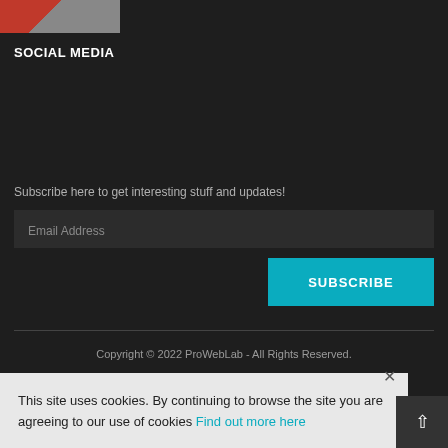[Figure (screenshot): Small thumbnail image showing a website or app UI with red and gray elements]
SOCIAL MEDIA
Subscribe here to get interesting stuff and updates!
Email Address
SUBSCRIBE
Copyright © 2022 ProWebLab - All Rights Reserved.
This site uses cookies. By continuing to browse the site you are agreeing to our use of cookies Find out more here